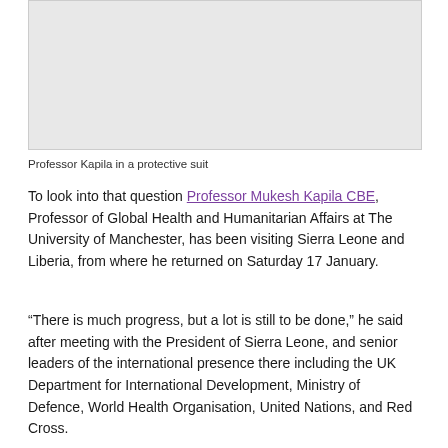[Figure (photo): Photo of Professor Kapila in a protective suit — shown as grey placeholder]
Professor Kapila in a protective suit
To look into that question Professor Mukesh Kapila CBE, Professor of Global Health and Humanitarian Affairs at The University of Manchester, has been visiting Sierra Leone and Liberia, from where he returned on Saturday 17 January.
“There is much progress, but a lot is still to be done,” he said after meeting with the President of Sierra Leone, and senior leaders of the international presence there including the UK Department for International Development, Ministry of Defence, World Health Organisation, United Nations, and Red Cross.